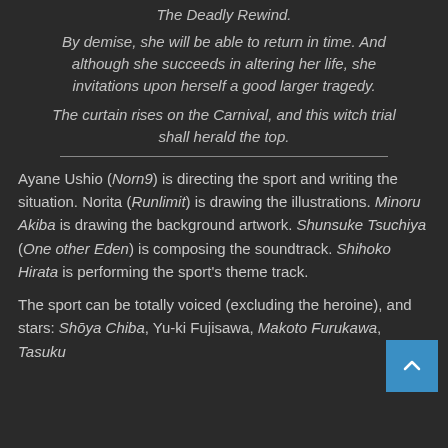The Deadly Rewind.
By demise, she will be able to return in time. And although she succeeds in altering her life, she invitations upon herself a good larger tragedy.
The curtain rises on the Carnival, and this witch trial shall herald the top.
Ayane Ushio (Norn9) is directing the sport and writing the situation. Norita (Runlimit) is drawing the illustrations. Minoru Akiba is drawing the background artwork. Shunsuke Tsuchiya (One other Eden) is composing the soundtrack. Shihoko Hirata is performing the sport's theme track.
The sport can be totally voiced (excluding the heroine), and stars: Shōya Chiba, Yu-ki Fujisawa, Makoto Furukawa, Tasuku